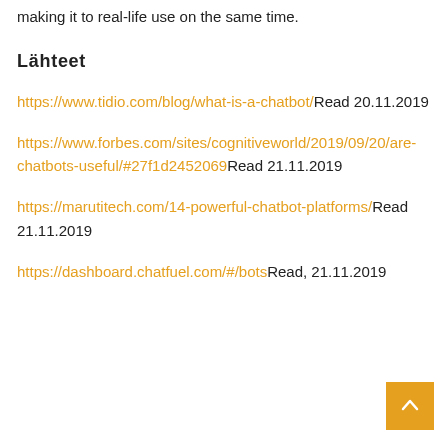making it to real-life use on the same time.
Lähteet
https://www.tidio.com/blog/what-is-a-chatbot/Read 20.11.2019
https://www.forbes.com/sites/cognitiveworld/2019/09/20/are-chatbots-useful/#27f1d2452069Read 21.11.2019
https://marutitech.com/14-powerful-chatbot-platforms/Read 21.11.2019
https://dashboard.chatfuel.com/#/botsRead, 21.11.2019